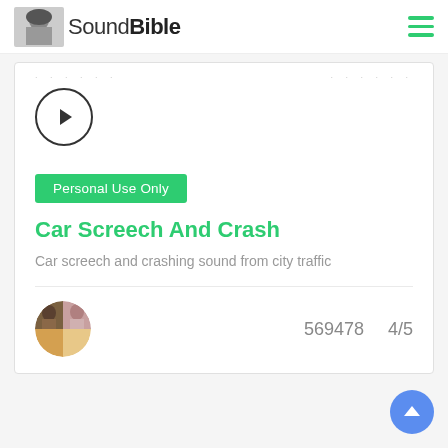SoundBible
[Figure (other): Play button circle icon for audio playback]
Personal Use Only
Car Screech And Crash
Car screech and crashing sound from city traffic
569478    4/5